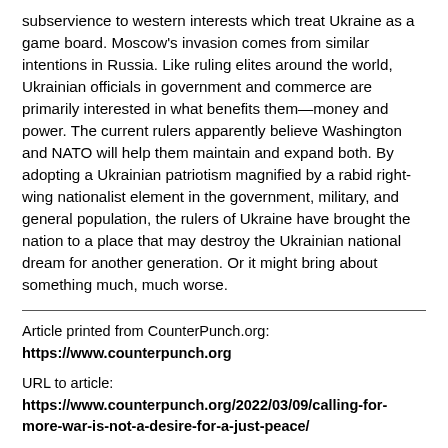subservience to western interests which treat Ukraine as a game board. Moscow's invasion comes from similar intentions in Russia. Like ruling elites around the world, Ukrainian officials in government and commerce are primarily interested in what benefits them—money and power. The current rulers apparently believe Washington and NATO will help them maintain and expand both. By adopting a Ukrainian patriotism magnified by a rabid right-wing nationalist element in the government, military, and general population, the rulers of Ukraine have brought the nation to a place that may destroy the Ukrainian national dream for another generation. Or it might bring about something much, much worse.
Article printed from CounterPunch.org:
https://www.counterpunch.org

URL to article: https://www.counterpunch.org/2022/03/09/calling-for-more-war-is-not-a-desire-for-a-just-peace/
Click here to print.